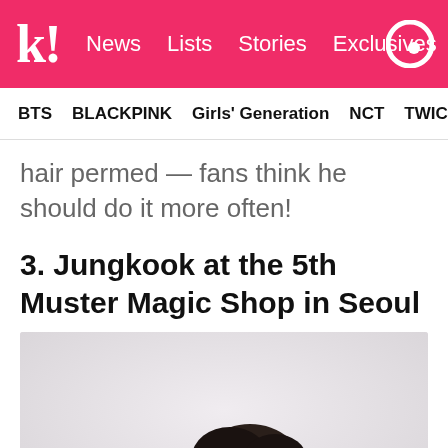k! News Lists Stories Exclusives
BTS BLACKPINK Girls' Generation NCT TWICE aespa
hair permed — fans think he should do it more often!
3. Jungkook at the 5th Muster Magic Shop in Seoul
[Figure (photo): Photo of Jungkook at the 5th Muster Magic Shop in Seoul, showing a person with dark hair against a light grey background]